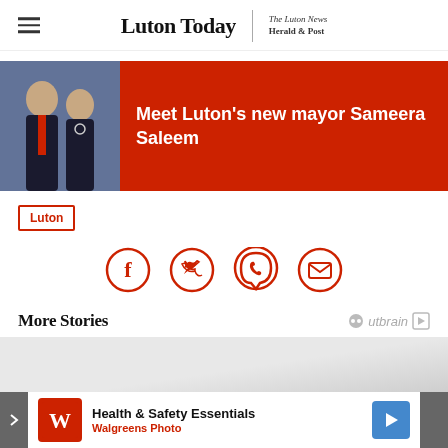Luton Today | The Luton News Herald & Post
[Figure (photo): Featured news article image showing two people in formal attire with red overlay title: Meet Luton's new mayor Sameera Saleem]
Meet Luton's new mayor Sameera Saleem
Luton
[Figure (infographic): Social share icons: Facebook, Twitter, WhatsApp, Email — circular red outlined icons]
More Stories
[Figure (photo): More stories image placeholder — gray gradient]
[Figure (infographic): Advertisement: Health & Safety Essentials — Walgreens Photo]